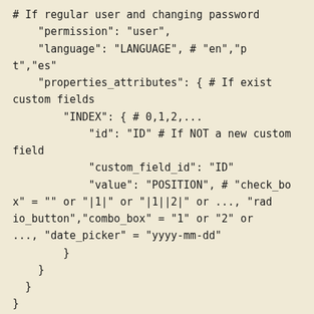# If regular user and changing password
    "permission": "user",
    "language": "LANGUAGE", # "en","pt","es"
    "properties_attributes": { # If exist custom fields
        "INDEX": { # 0,1,2,...
            "id": "ID" # If NOT a new custom field
            "custom_field_id": "ID"
            "value": "POSITION", # "check_box" = "" or "|1|" or "|1||2|" or ..., "radio_button","combo_box" = "1" or "2" or ..., "date_picker" = "yyyy-mm-dd"
        }
    }
  }
}
RETURN:
{